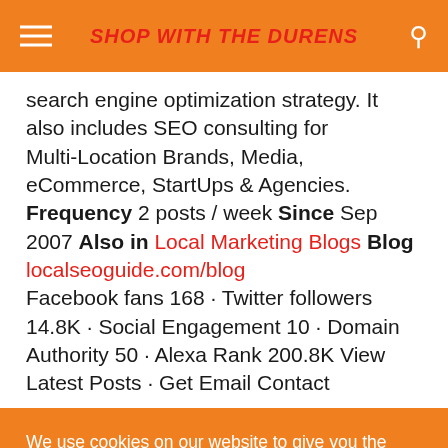SHOP WITH THE DURENS
search engine optimization strategy. It also includes SEO consulting for Multi-Location Brands, Media, eCommerce, StartUps & Agencies. Frequency 2 posts / week Since Sep 2007 Also in Local Marketing Blogs Blog localseoguide.com/blog Facebook fans 168 · Twitter followers 14.8K · Social Engagement 10 · Domain Authority 50 · Alexa Rank 200.8K View Latest Posts · Get Email Contact
We use cookies on our website to give you the most relevant experience by remembering your preferences and repeat visits.
Cookie settings  ACCEPT